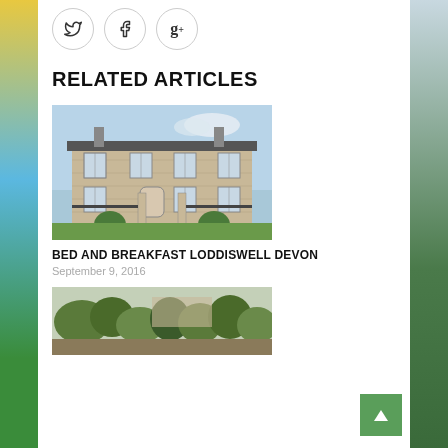[Figure (infographic): Social media share icons: Twitter (bird), Facebook (f), Google+ (g+) in circular outlines]
RELATED ARTICLES
[Figure (photo): Photograph of a large Georgian stone manor house with iron gates and topiary ball-shaped bushes in terracotta pots in the foreground, blue sky behind]
BED AND BREAKFAST LODDISWELL DEVON
September 9, 2016
[Figure (photo): Photograph showing a garden or landscape with dense shrubs and trees, partial view of a building or structure]